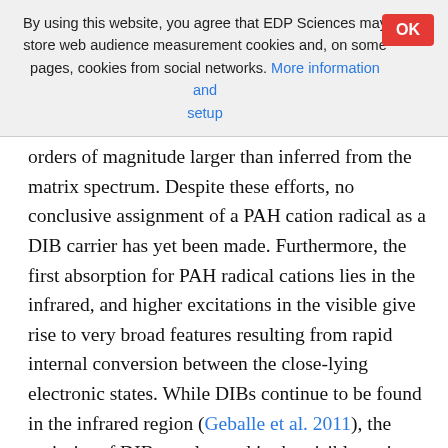By using this website, you agree that EDP Sciences may store web audience measurement cookies and, on some pages, cookies from social networks. More information and setup
orders of magnitude larger than inferred from the matrix spectrum. Despite these efforts, no conclusive assignment of a PAH cation radical as a DIB carrier has yet been made. Furthermore, the first absorption for PAH radical cations lies in the infrared, and higher excitations in the visible give rise to very broad features resulting from rapid internal conversion between the close-lying electronic states. While DIBs continue to be found in the infrared region (Geballe et al. 2011), the majority of DIBs are located in the visible region, and open shell cations are not likely carriers of these bands.
A less explored set of molecules are closed-shell PAH cations (CSCs). The CSCs present their lowest-lying